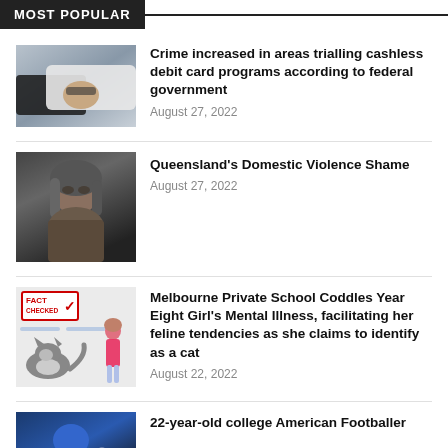MOST POPULAR
[Figure (photo): Two hands, one grabbing another's wrist, suggesting crime or theft scene]
Crime increased in areas trialling cashless debit card programs according to federal government
August 27, 2022
[Figure (photo): Black and white portrait of a woman with a sad or distressed expression]
Queensland's Domestic Violence Shame
August 27, 2022
[Figure (photo): Composite image with FACT CHECKED stamp, a cat lying down, and a person standing]
Melbourne Private School Coddles Year Eight Girl's Mental Illness, facilitating her feline tendencies as she claims to identify as a cat
August 22, 2022
[Figure (photo): American football player in blue helmet and uniform]
22-year-old college American Footballer